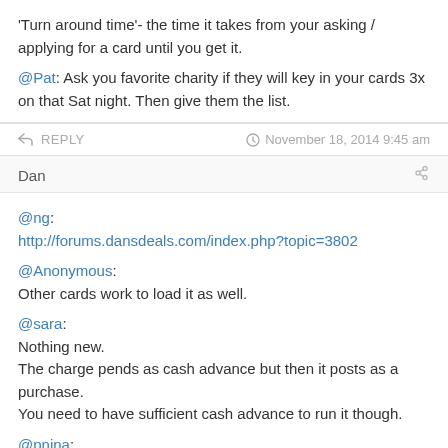'Turn around time'- the time it takes from your asking / applying for a card until you get it.
@Pat: Ask you favorite charity if they will key in your cards 3x on that Sat night. Then give them the list.
REPLY   November 18, 2014 9:45 am
Dan
@ng:
http://forums.dansdeals.com/index.php?topic=3802

@Anonymous:
Other cards work to load it as well.

@sara:
Nothing new.
The charge pends as cash advance but then it posts as a purchase.
You need to have sufficient cash advance to run it though.

@pnina: